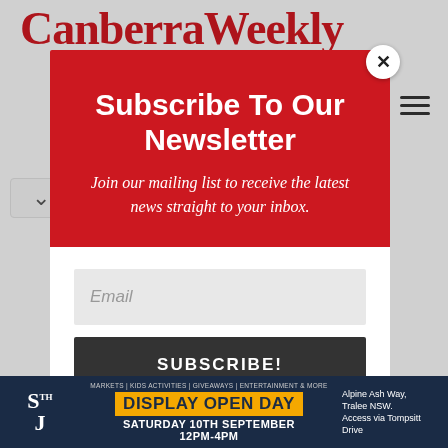Canberra Weekly
Hom
[Figure (screenshot): Newsletter subscription modal popup with red header section containing title 'Subscribe To Our Newsletter' and body text 'Join our mailing list to receive the latest news straight to your inbox.' Below is a white section with an email input field and a SUBSCRIBE! button. A close (x) button appears in the top right corner of the modal.]
Subscribe To Our Newsletter
Join our mailing list to receive the latest news straight to your inbox.
Email
SUBSCRIBE!
[Figure (infographic): Advertisement banner for 'S TH J' with yellow 'DISPLAY OPEN DAY' text, reading 'SATURDAY 10TH SEPTEMBER 12PM-4PM', with text 'MARKETS | KIDS ACTIVITIES | GIVEAWAYS | ENTERTAINMENT & MORE' and address 'Alpine Ash Way, Tralee NSW. Access via Tompsitt Drive']